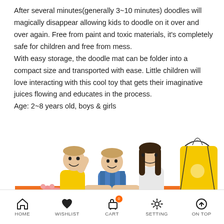After several minutes(generally 3~10 minutes) doodles will magically disappear allowing kids to doodle on it over and over again. Free from paint and toxic materials, it's completely safe for children and free from mess. With easy storage, the doodle mat can be folder into a compact size and transported with ease. Little children will love interacting with this cool toy that gets their imaginative juices flowing and educates in the process. Age: 2~8 years old, boys & girls
[Figure (photo): Three smiling children (two boys and a girl) posing together lying on an orange doodle mat, with a yellow drawstring bag visible in the background on the right.]
HOME   WISHLIST   CART   SETTING   ON TOP